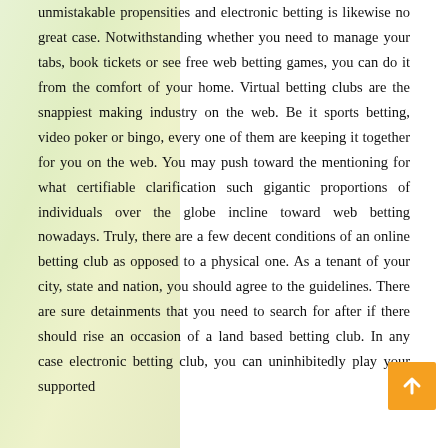unmistakable propensities and electronic betting is likewise no great case. Notwithstanding whether you need to manage your tabs, book tickets or see free web betting games, you can do it from the comfort of your home. Virtual betting clubs are the snappiest making industry on the web. Be it sports betting, video poker or bingo, every one of them are keeping it together for you on the web. You may push toward the mentioning for what certifiable clarification such gigantic proportions of individuals over the globe incline toward web betting nowadays. Truly, there are a few decent conditions of an online betting club as opposed to a physical one. As a tenant of your city, state and nation, you should agree to the guidelines. There are sure detainments that you need to search for after if there should rise an occasion of a land based betting club. In any case electronic betting club, you can uninhibitedly play your supported